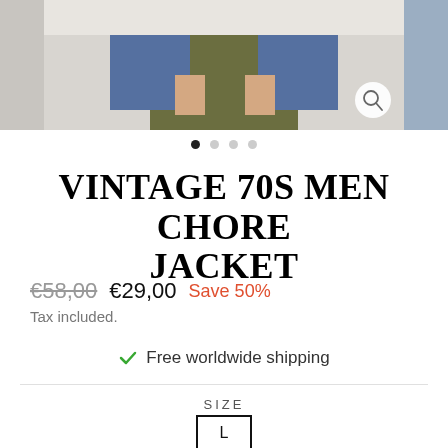[Figure (photo): Product photo strip showing a person wearing a vintage blue chore jacket and olive/khaki trousers, with partial side images. A magnify/zoom icon is visible in the bottom-right of the center image.]
VINTAGE 70S MEN CHORE JACKET
€58,00  €29,00  Save 50%
Tax included.
✓ Free worldwide shipping
SIZE
L